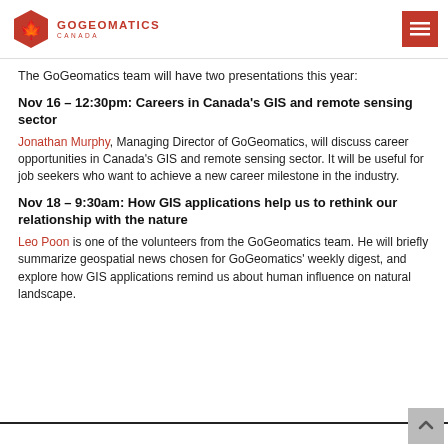[Figure (logo): GoGeomatics Canada logo with red hexagon and maple leaf icon, text GOGEOMATICS CANADA]
The GoGeomatics team will have two presentations this year:
Nov 16 – 12:30pm: Careers in Canada's GIS and remote sensing sector
Jonathan Murphy, Managing Director of GoGeomatics, will discuss career opportunities in Canada's GIS and remote sensing sector. It will be useful for job seekers who want to achieve a new career milestone in the industry.
Nov 18 – 9:30am: How GIS applications help us to rethink our relationship with the nature
Leo Poon is one of the volunteers from the GoGeomatics team. He will briefly summarize geospatial news chosen for GoGeomatics' weekly digest, and explore how GIS applications remind us about human influence on natural landscape.